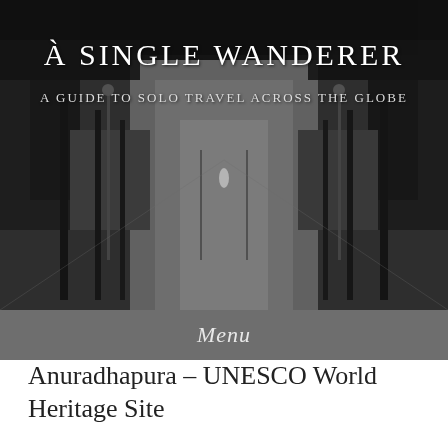[Figure (photo): Black and white photograph of a tree-lined pathway or avenue with a lone figure walking in the distance, flanked by iron fences and lamp posts]
À Single Wanderer
A guide to solo travel across the globe
Menu
Anuradhapura – UNESCO World Heritage Site
My first stop in Sri Lanka was the city of